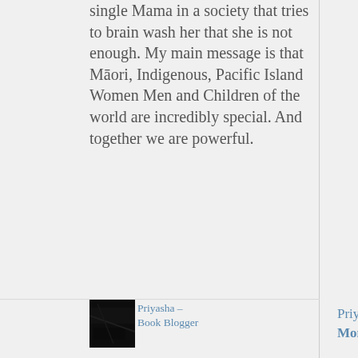single Mama in a society that tries to brain wash her that she is not enough. My main message is that Māori, Indigenous, Pacific Island Women Men and Children of the world are incredibly special. And together we are powerful.
Priyasha – Book Blogger
Priyasha on The King Eternal Monarch Final...
Priyasha – Book
Priyasha on The King Eternal Monarch Final...